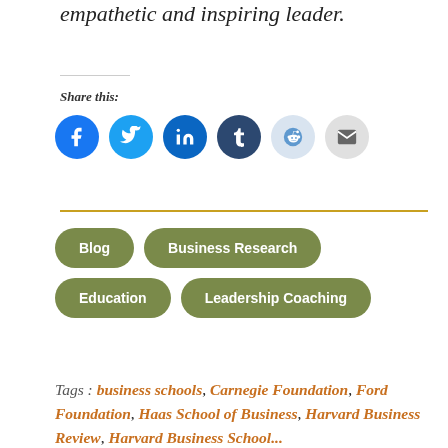empathetic and inspiring leader.
Share this:
[Figure (infographic): Row of six social sharing icon circles: Facebook (blue), Twitter (light blue), LinkedIn (dark blue), Tumblr (dark navy), Reddit (light blue/grey), Email (grey)]
Blog
Business Research
Education
Leadership Coaching
Tags : business schools, Carnegie Foundation, Ford Foundation, Haas School of Business, Harvard Business Review, Harvard Business School...